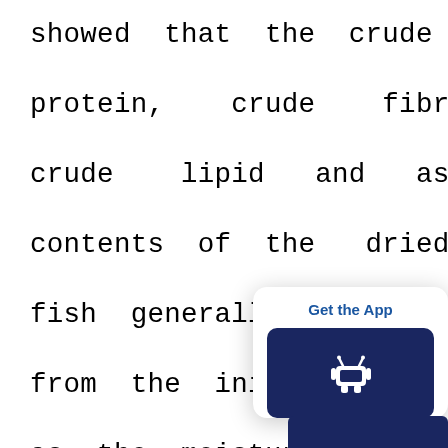showed that the crude protein, crude fibre, crude lipid and ash contents of the dried fish generally increased from the initial values as the moisture content decreased. It can be concluded from the results of this study that the best smoked fish with good quality parameters in terms of nutrient and organoleptic parameters were the
[Figure (other): Get the App overlay card with Android app download button]